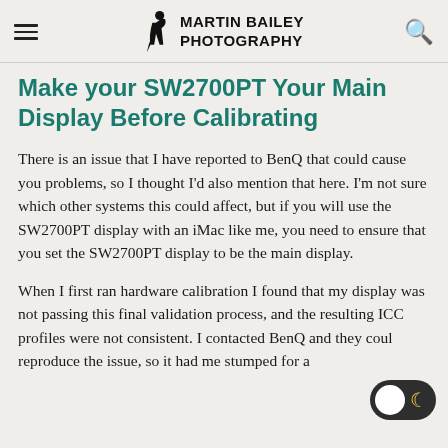Martin Bailey Photography
Make your SW2700PT Your Main Display Before Calibrating
There is an issue that I have reported to BenQ that could cause you problems, so I thought I'd also mention that here. I'm not sure which other systems this could affect, but if you will use the SW2700PT display with an iMac like me, you need to ensure that you set the SW2700PT display to be the main display.
When I first ran hardware calibration I found that my display was not passing this final validation process, and the resulting ICC profiles were not consistent. I contacted BenQ and they could reproduce the issue, so it had me stumped for a